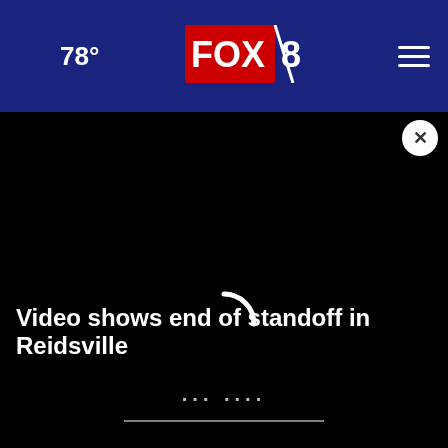🌙 78° FOX 8 ☰
[Figure (screenshot): Black video player area with white loading spinner arc in the center]
Video shows end of standoff in Reidsville
...